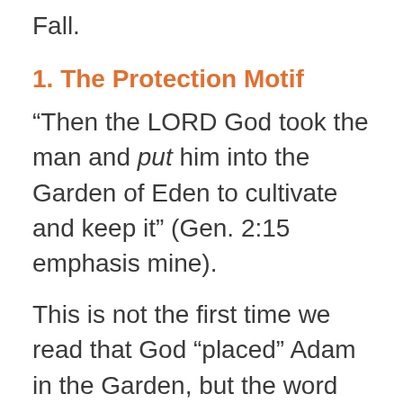Fall.
1. The Protection Motif
“Then the LORD God took the man and put him into the Garden of Eden to cultivate and keep it” (Gen. 2:15 emphasis mine).
This is not the first time we read that God “placed” Adam in the Garden, but the word that Moses uses here in 2:15 is different than the word used in 2:8. Here the word carries the ideas of safety (Gen. 19:16) and rest (Deut. 3:20; 12:10; 25:19). Th...